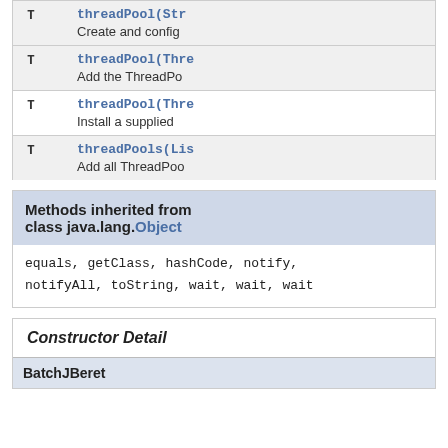| Type | Method and Description |
| --- | --- |
| T | threadPool(Str…
Create and config… |
| T | threadPool(Thre…
Add the ThreadPo… |
| T | threadPool(Thre…
Install a supplied… |
| T | threadPools(Lis…
Add all ThreadPoo… |
Methods inherited from class java.lang.Object
equals, getClass, hashCode, notify, notifyAll, toString, wait, wait, wait
Constructor Detail
BatchJBeret